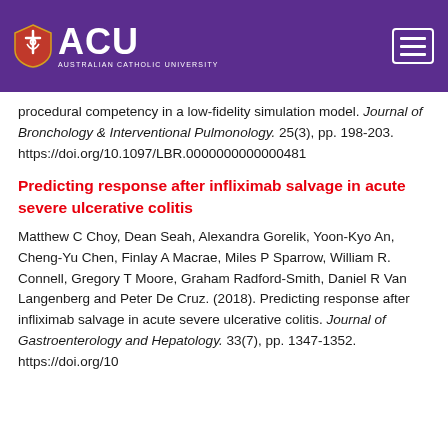[Figure (logo): ACU Australian Catholic University logo with shield on purple header bar with hamburger menu icon]
procedural competency in a low-fidelity simulation model. Journal of Bronchology & Interventional Pulmonology. 25(3), pp. 198-203. https://doi.org/10.1097/LBR.0000000000000481
Predicting response after infliximab salvage in acute severe ulcerative colitis
Matthew C Choy, Dean Seah, Alexandra Gorelik, Yoon-Kyo An, Cheng-Yu Chen, Finlay A Macrae, Miles P Sparrow, William R. Connell, Gregory T Moore, Graham Radford-Smith, Daniel R Van Langenberg and Peter De Cruz. (2018). Predicting response after infliximab salvage in acute severe ulcerative colitis. Journal of Gastroenterology and Hepatology. 33(7), pp. 1347-1352. https://doi.org/10